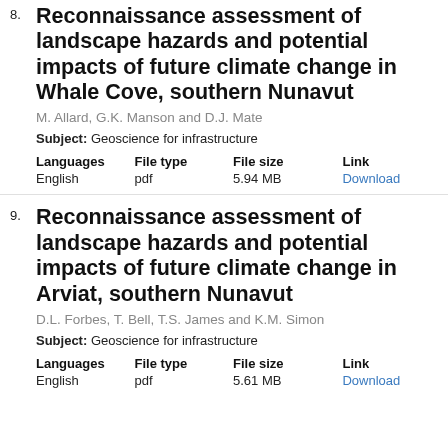Reconnaissance assessment of landscape hazards and potential impacts of future climate change in Whale Cove, southern Nunavut
M. Allard, G.K. Manson and D.J. Mate
Subject: Geoscience for infrastructure
| Languages | File type | File size | Link |
| --- | --- | --- | --- |
| English | pdf | 5.94 MB | Download |
Reconnaissance assessment of landscape hazards and potential impacts of future climate change in Arviat, southern Nunavut
D.L. Forbes, T. Bell, T.S. James and K.M. Simon
Subject: Geoscience for infrastructure
| Languages | File type | File size | Link |
| --- | --- | --- | --- |
| English | pdf | 5.61 MB | Download |